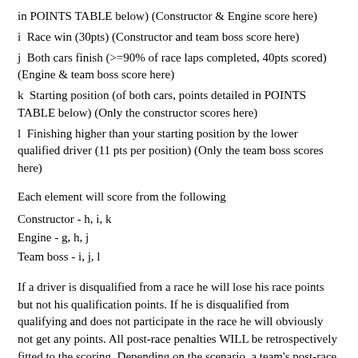in POINTS TABLE below) (Constructor & Engine score here)
i  Race win (30pts) (Constructor and team boss score here)
j  Both cars finish (>=90% of race laps completed, 40pts scored) (Engine & team boss score here)
k  Starting position (of both cars, points detailed in POINTS TABLE below) (Only the constructor scores here)
l  Finishing higher than your starting position by the lower qualified driver (11 pts per position) (Only the team boss scores here)
Each element will score from the following
Constructor - h, i, k
Engine - g, h, j
Team boss - i, j, l
If a driver is disqualified from a race he will lose his race points but not his qualification points. If he is disqualified from qualifying and does not participate in the race he will obviously not get any points. All post-race penalties WILL be retrospectively fitted to the scoring. Depending on the scenario, a team's post-race disqualification may or may not result in the individual driver or drivers being disqualified. This depends on whether it is deemed the driver(s) was at fault and not the team. Any injury to a